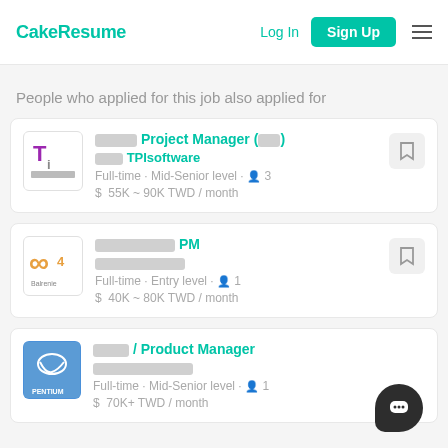CakeResume | Log In | Sign Up
People who applied for this job also applied for
[redacted] Project Manager ([redacted]) | [redacted] TPIsoftware | Full-time · Mid-Senior level · 3 | $ 55K ~ 90K TWD / month
[redacted] PM | [redacted] | Full-time · Entry level · 1 | $ 40K ~ 80K TWD / month
[redacted] / Product Manager | [redacted] | Full-time · Mid-Senior level · 1 | $ 70K+ TWD / month